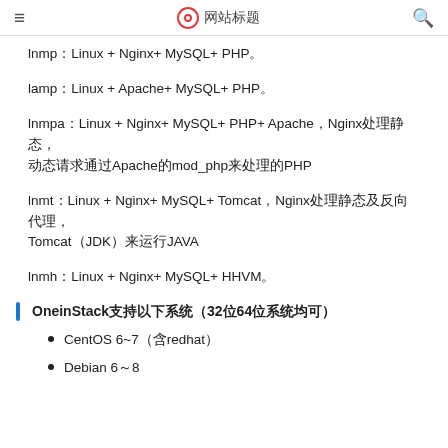≡  [logo] 网站标题  🔍
lnmp：Linux + Nginx+ MySQL+ PHP。
lamp：Linux + Apache+ MySQL+ PHP。
lnmpa：Linux + Nginx+ MySQL+ PHP+ Apache，Nginx处理静态，动态请求通过Apache的mod_php来处理的PHP
lnmt：Linux + Nginx+ MySQL+ Tomcat，Nginx处理静态及反向代理，Tomcat（JDK）来运行JAVA
lnmh：Linux + Nginx+ MySQL+ HHVM。
OneinStack支持以下系统（32位64位系统均可）
CentOS 6~7（含redhat）
Debian 6～8